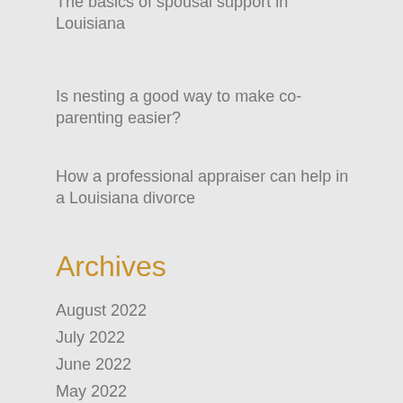The basics of spousal support in Louisiana
Is nesting a good way to make co-parenting easier?
How a professional appraiser can help in a Louisiana divorce
Archives
August 2022
July 2022
June 2022
May 2022
April 2022